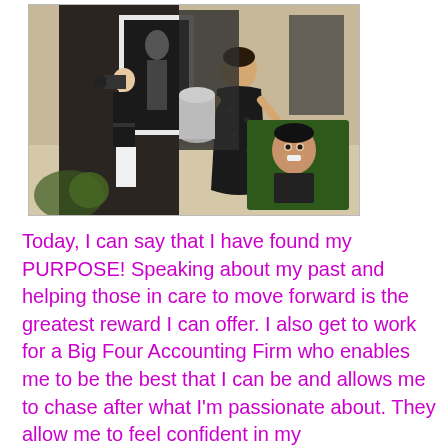[Figure (photo): A photograph showing people at what appears to be an exhibition or event. A person in a black shirt with a camera is photographing artwork, and a woman in a black dress is standing nearby. A smaller inset photo in the lower right shows a smiling young man outdoors.]
Today, I can say that I have found my PURPOSE!  Speaking about my past and helping those in care to move forward is the greatest reward I can offer.  I also get to work for a Big Four Accounting Firm who enables me to be the best that I can be and allows me to chase after what I'm passionate about.  They allow me to feel confident in my